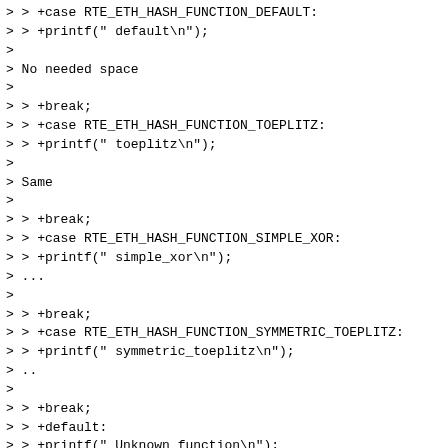> > +case RTE_ETH_HASH_FUNCTION_DEFAULT:
> > +printf(" default\n");
>
> No needed space
>
> > +break;
> > +case RTE_ETH_HASH_FUNCTION_TOEPLITZ:
> > +printf(" toeplitz\n");
>
> Same
>
> > +break;
> > +case RTE_ETH_HASH_FUNCTION_SIMPLE_XOR:
> > +printf(" simple_xor\n");
> ...
>
> > +break;
> > +case RTE_ETH_HASH_FUNCTION_SYMMETRIC_TOEPLITZ:
> > +printf(" symmetric_toeplitz\n");
> ..
>
> > +break;
> > +default:
> > +printf(" Unknown function\n");
> ...
>
> > +return;
> > +}
> > +
> > +printf(" types:\n");